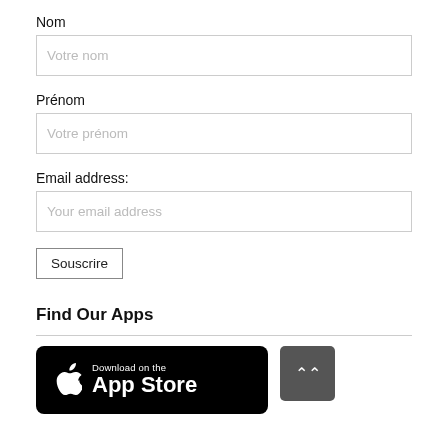Nom
Votre nom
Prénom
Votre prénom
Email address:
Your email address
Souscrire
Find Our Apps
[Figure (illustration): App Store download badge (black, Apple logo, 'Download on the App Store') with a dark grey scroll-to-top button showing a double chevron up arrow]